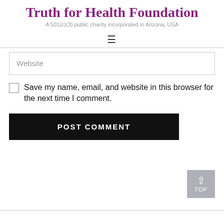Truth for Health Foundation
A 501(c)(3) public charity incorporated in Arizona, USA
[Figure (other): Hamburger menu icon (three horizontal lines)]
Website
Save my name, email, and website in this browser for the next time I comment.
POST COMMENT